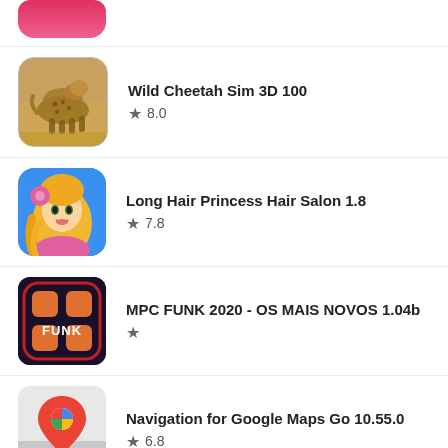[Figure (screenshot): Partial app icon at top (pink/red, partially cropped)]
Wild Cheetah Sim 3D 100
★ 8.0
Long Hair Princess Hair Salon 1.8
★ 7.8
MPC FUNK 2020 - OS MAIS NOVOS 1.04b
★
Navigation for Google Maps Go 10.55.0
★ 6.8
[Figure (screenshot): Partial app icon at bottom (green, partially cropped)]